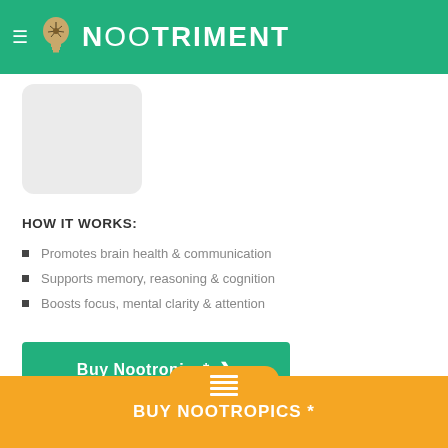NOOTRIMENT
[Figure (photo): Product image placeholder box (light gray rounded rectangle)]
HOW IT WORKS:
Promotes brain health & communication
Supports memory, reasoning & cognition
Boosts focus, mental clarity & attention
Buy Nootropics* ❯
View User Ratings* ❯
*Affiliate Links
BUY NOOTROPICS *